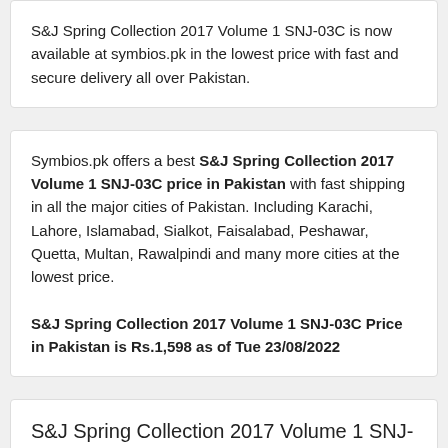S&J Spring Collection 2017 Volume 1 SNJ-03C is now available at symbios.pk in the lowest price with fast and secure delivery all over Pakistan.
Symbios.pk offers a best S&J Spring Collection 2017 Volume 1 SNJ-03C price in Pakistan with fast shipping in all the major cities of Pakistan. Including Karachi, Lahore, Islamabad, Sialkot, Faisalabad, Peshawar, Quetta, Multan, Rawalpindi and many more cities at the lowest price.

S&J Spring Collection 2017 Volume 1 SNJ-03C Price in Pakistan is Rs.1,598 as of Tue 23/08/2022
S&J Spring Collection 2017 Volume 1 SNJ-03C Description
[Figure (photo): S&J Spring Collection 2017 Volume 1 SNJ-03C product image (partially visible at bottom)]